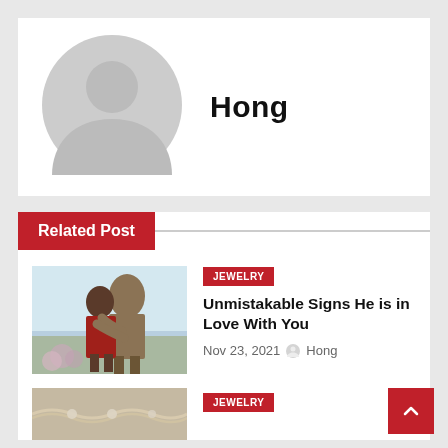[Figure (illustration): Default user avatar placeholder - grey circle with person silhouette]
Hong
Related Post
[Figure (photo): A couple embracing outdoors, woman with red outfit being kissed on head by man]
JEWELRY
Unmistakable Signs He is in Love With You
Nov 23, 2021  Hong
[Figure (photo): Jewelry photo - partial view at bottom of page]
JEWELRY